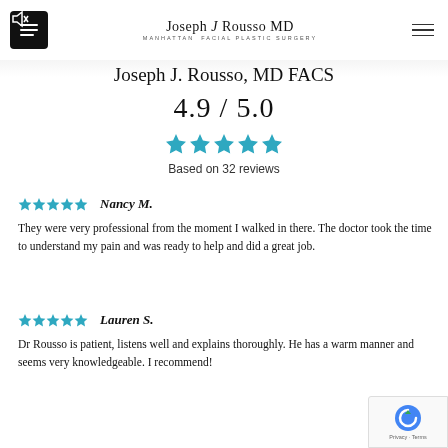Joseph J. Rousso MD — Manhattan Facial Plastic Surgery
Joseph J. Rousso, MD FACS
4.9 / 5.0
[Figure (infographic): 5 teal/blue stars rating display]
Based on 32 reviews
Nancy M.
They were very professional from the moment I walked in there. The doctor took the time to understand my pain and was ready to help and did a great job.
Lauren S.
Dr Rousso is patient, listens well and explains thoroughly. He has a warm manner and seems very knowledgeable. I recommend!